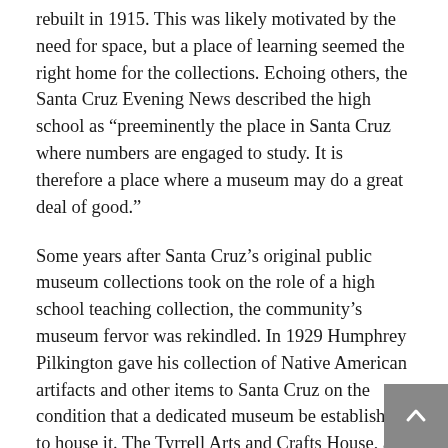rebuilt in 1915. This was likely motivated by the need for space, but a place of learning seemed the right home for the collections. Echoing others, the Santa Cruz Evening News described the high school as “preeminently the place in Santa Cruz where numbers are engaged to study. It is therefore a place where a museum may do a great deal of good.”
Some years after Santa Cruz’s original public museum collections took on the role of a high school teaching collection, the community’s museum fervor was rekindled. In 1929 Humphrey Pilkington gave his collection of Native American artifacts and other items to Santa Cruz on the condition that a dedicated museum be established to house it. The Tyrrell Arts and Crafts House, a community hub in the park adjacent to the Seabright Library, was chosen as the Santa Cruz Museum’s new location. As curator Jed Scott and various hard working volunteers set about cataloging and organizing Pilkington’s collections, they also began to solicit other gifts to the museum. Significantly, the museum lobbied and was successful in